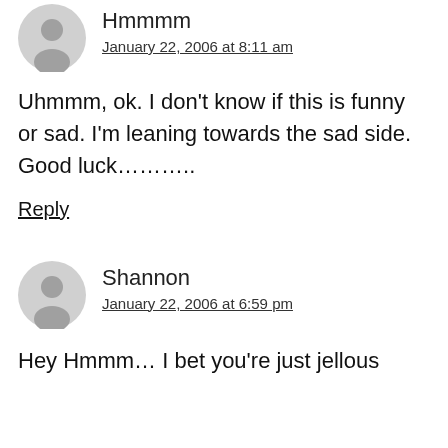Hmmmm
January 22, 2006 at 8:11 am
Uhmmm, ok. I don't know if this is funny or sad. I'm leaning towards the sad side. Good luck………..
Reply
Shannon
January 22, 2006 at 6:59 pm
Hey Hmmm… I bet you're just jellous